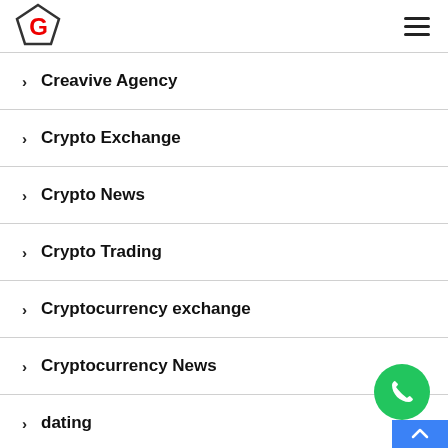G logo and hamburger menu
> Creavive Agency
> Crypto Exchange
> Crypto News
> Crypto Trading
> Cryptocurrency exchange
> Cryptocurrency News
> dating